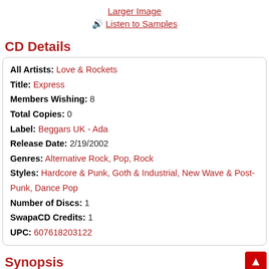Larger Image
Listen to Samples
CD Details
| All Artists: | Love & Rockets |
| Title: | Express |
| Members Wishing: | 8 |
| Total Copies: | 0 |
| Label: | Beggars UK - Ada |
| Release Date: | 2/19/2002 |
| Genres: | Alternative Rock, Pop, Rock |
| Styles: | Hardcore & Punk, Goth & Industrial, New Wave & Post-Punk, Dance Pop |
| Number of Discs: | 1 |
| SwapaCD Credits: | 1 |
| UPC: | 607618203122 |
Synopsis
Album Description
This expanded edition has been remastered from the studio digital tapes producer John A. Rivers, giving the music a new depth and clarity. The